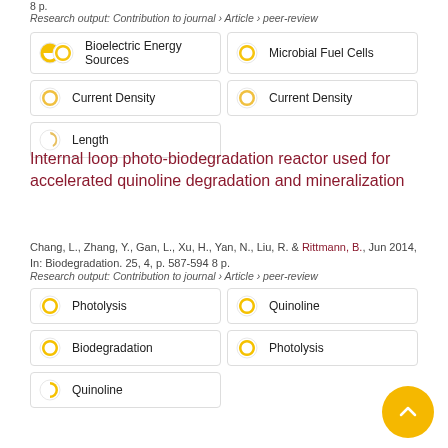8 p.
Research output: Contribution to journal › Article › peer-review
Bioelectric Energy Sources
Microbial Fuel Cells
Current Density
Current Density
Length
Internal loop photo-biodegradation reactor used for accelerated quinoline degradation and mineralization
Chang, L., Zhang, Y., Gan, L., Xu, H., Yan, N., Liu, R. & Rittmann, B., Jun 2014, In: Biodegradation. 25, 4, p. 587-594 8 p.
Research output: Contribution to journal › Article › peer-review
Photolysis
Quinoline
Biodegradation
Photolysis
Quinoline